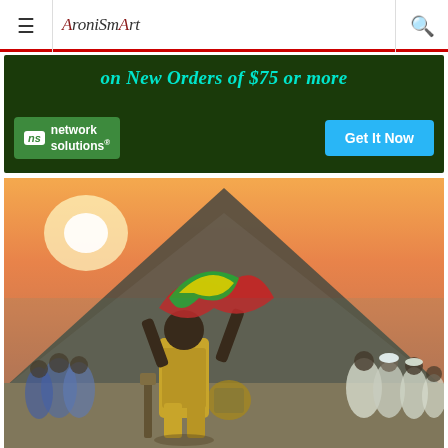☰  AroniSmart  🔍
[Figure (screenshot): Advertisement banner for Network Solutions: 'on New Orders of $75 or more' with Network Solutions logo and 'Get It Now' button on dark green background]
[Figure (photo): Artistic illustration of an African cultural scene: a figure in yellow garment holding colorful fabric (red, green, yellow) raised overhead, with a thatched-roof hut in the background and a crowd of people watching, at sunset]